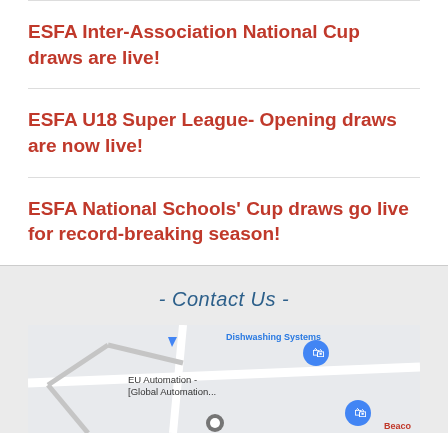ESFA Inter-Association National Cup draws are live!
ESFA U18 Super League- Opening draws are now live!
ESFA National Schools' Cup draws go live for record-breaking season!
- Contact Us -
[Figure (map): Google Maps embed showing EU Automation - [Global Automation...] location, with Dishwashing Systems and Beaco labels visible nearby]